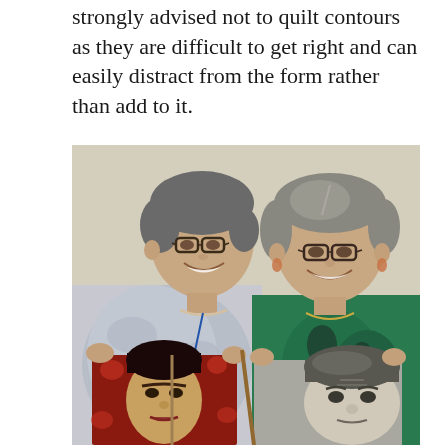strongly advised not to quilt contours as they are difficult to get right and can easily distract from the form rather than add to it.
[Figure (photo): Two women standing and smiling, each holding a quilted portrait artwork. The left woman wears glasses and a floral blouse, holding a colorful portrait on a red/orange background. The right woman wears glasses and a green patterned top, holding a grayscale portrait.]